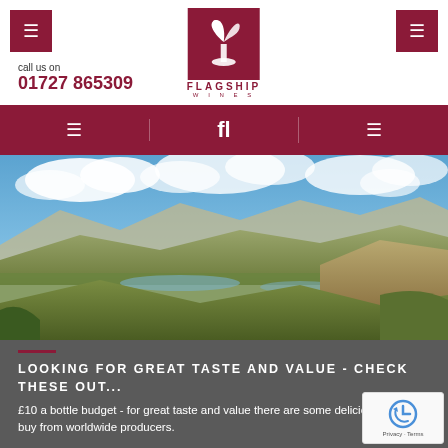[Figure (logo): Flagship Wines logo - cursive wine glass/bird graphic on dark red background]
call us on
01727 865309
Navigation bar with three icon buttons on dark red background
[Figure (photo): Panoramic landscape photo of vineyard hills and valleys under blue cloudy sky]
LOOKING FOR GREAT TASTE AND VALUE - CHECK THESE OUT...
£10 a bottle budget - for great taste and value there are some delicious wines to buy from worldwide producers.